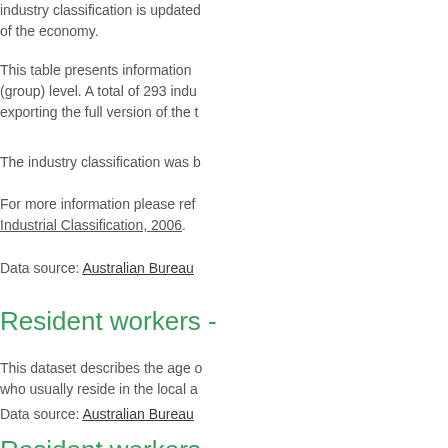industry classification is updated of the economy.
This table presents information (group) level. A total of 293 indu exporting the full version of the t
The industry classification was b
For more information please ref Industrial Classification, 2006.
Data source: Australian Bureau
Resident workers -
This dataset describes the age o who usually reside in the local a
Data source: Australian Bureau
Resident workers -